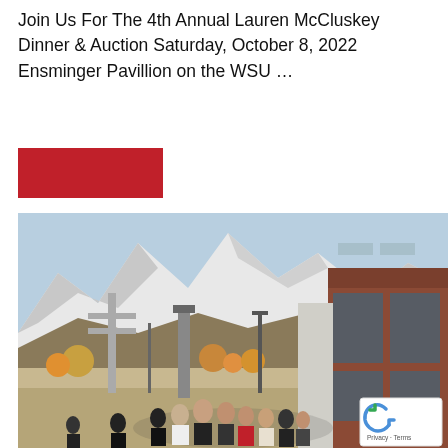Join Us For The 4th Annual Lauren McCluskey Dinner & Auction Saturday, October 8, 2022 Ensminger Pavillion on the WSU …
[Figure (other): Red button/banner element]
[Figure (photo): Outdoor photo of a group of people walking on a university campus with snow-capped mountains in the background and a modern brick building on the right side.]